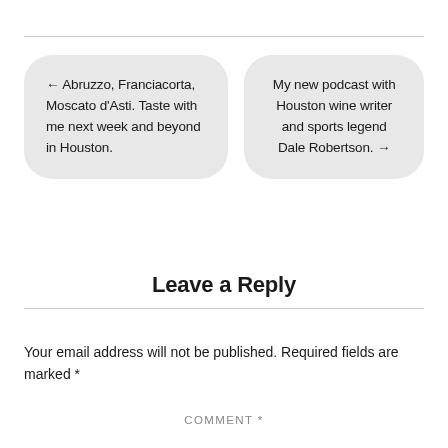← Abruzzo, Franciacorta, Moscato d'Asti. Taste with me next week and beyond in Houston.
My new podcast with Houston wine writer and sports legend Dale Robertson. →
Leave a Reply
Your email address will not be published. Required fields are marked *
COMMENT *